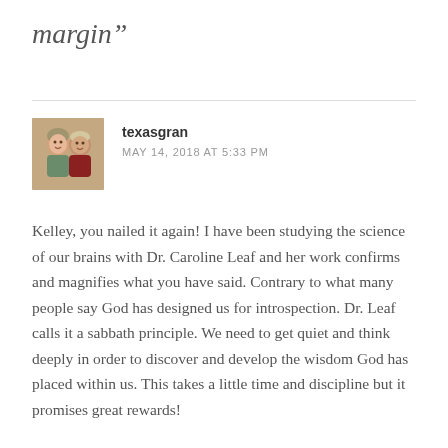margin”
texasgran
MAY 14, 2018 AT 5:33 PM
Kelley, you nailed it again! I have been studying the science of our brains with Dr. Caroline Leaf and her work confirms and magnifies what you have said. Contrary to what many people say God has designed us for introspection. Dr. Leaf calls it a sabbath principle. We need to get quiet and think deeply in order to discover and develop the wisdom God has placed within us. This takes a little time and discipline but it promises great rewards!